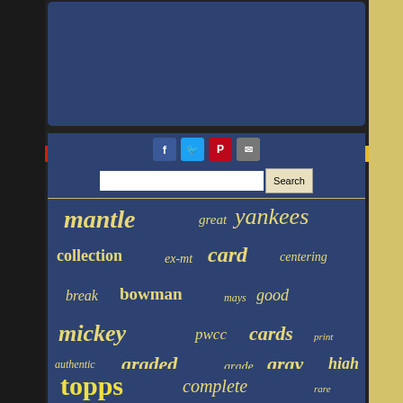[Figure (screenshot): Top navy blue rectangular block - header/banner area of a website about baseball cards]
[Figure (infographic): Social sharing icons: Facebook (blue), Twitter (light blue), Pinterest (red), Email (gray)]
[Figure (screenshot): Search bar with text input and Search button]
[Figure (infographic): Tag cloud / word cloud showing baseball card related terms: mantle, yankees, great, collection, ex-mt, card, centering, break, bowman, mays, good, mickey, pwcc, cards, print, authentic, graded, grade, gray, high, sharp, centered, mint, back, nice, topps, complete, rare]
[Figure (photo): Vintage baseball card photo strip on right side showing players in uniforms]